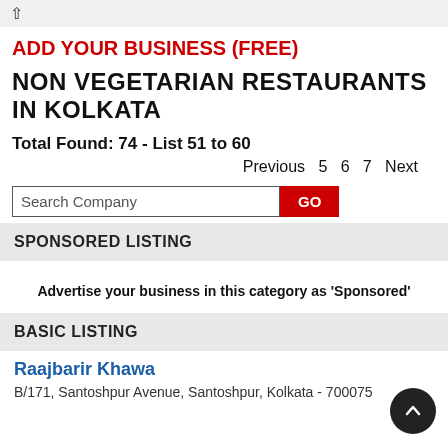ADD YOUR BUSINESS (FREE)
NON VEGETARIAN RESTAURANTS IN KOLKATA
Total Found: 74 - List 51 to 60
Previous  5  6  7  Next
Search Company  GO
SPONSORED LISTING
Advertise your business in this category as 'Sponsored'
BASIC LISTING
Raajbarir Khawa
B/171, Santoshpur Avenue, Santoshpur, Kolkata - 700075